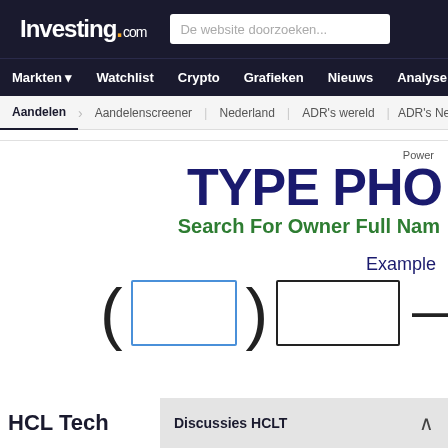Investing.com
De website doorzoeken...
Markten  Watchlist  Crypto  Grafieken  Nieuws  Analyse
Aandelen  Aandelenscreener  Nederland  ADR's wereld  ADR's Neder
Power
TYPE PHO
Search For Owner Full Nam
Example
[Figure (other): Phone number input form with parentheses for area code, a blue-outlined input box, a black-outlined input box, and a dash separator]
HCL Tech
Discussies HCLT